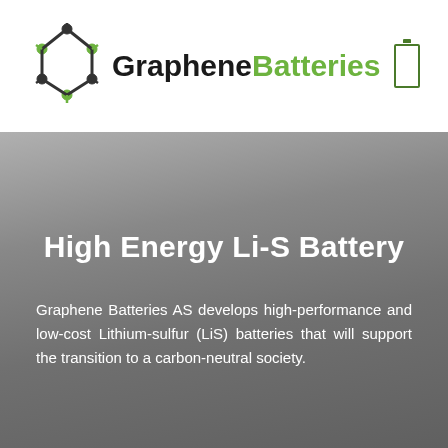[Figure (logo): GrapheneBatteries logo with hexagonal graphene molecule structure in black and green, and a battery icon on the right]
High Energy Li-S Battery
Graphene Batteries AS develops high-performance and low-cost Lithium-sulfur (LiS) batteries that will support the transition to a carbon-neutral society.